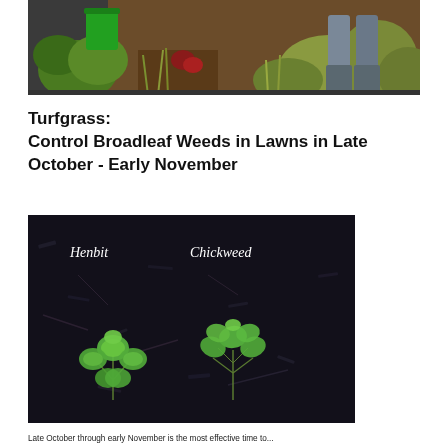[Figure (photo): Outdoor garden/lawn scene showing a green bucket on the left and a person's legs/boots on the right, with various grasses and plants in the background]
Turfgrass:
Control Broadleaf Weeds in Lawns in Late October - Early November
[Figure (photo): Close-up photo of two weed seedlings growing in dark soil/mulch, labeled 'Henbit' on the left and 'Chickweed' on the right]
Late October through early November is the most effective time to...